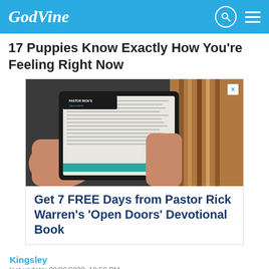GodVine
17 Puppies Know Exactly How You're Feeling Right Now
[Figure (photo): Advertisement image showing hands holding a tablet displaying Pastor Rick's Daily Hope content, with books in the background. Ad reads: Get 7 FREE Days from Pastor Rick Warren's ‘Open Doors’ Devotional Book]
Kingsley
last update: 08/20/2023, 10:50 PM